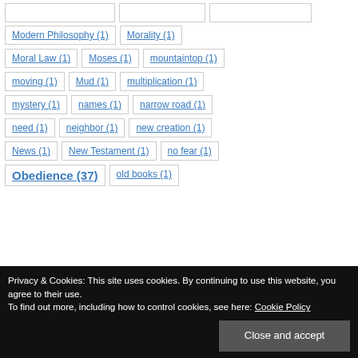Modern Philosophy (1)
Morality (1)
Moral Law (1)
Moses (1)
mountaintop (1)
moving (1)
Mud (1)
multiplication (1)
mystery (1)
names (1)
narrow road (1)
need (1)
neighbor (1)
new creation (1)
News (1)
New Testament (1)
no fear (1)
Obedience (37)
old books (1)
Privacy & Cookies: This site uses cookies. By continuing to use this website, you agree to their use. To find out more, including how to control cookies, see here: Cookie Policy
Close and accept